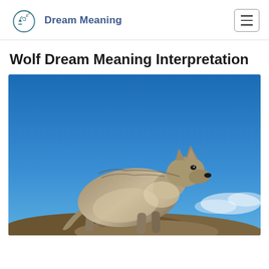Dream Meaning
Wolf Dream Meaning Interpretation
[Figure (photo): A grey wolf standing on a rocky outcrop against a bright blue sky, photographed from a low angle. The wolf is in profile facing right.]